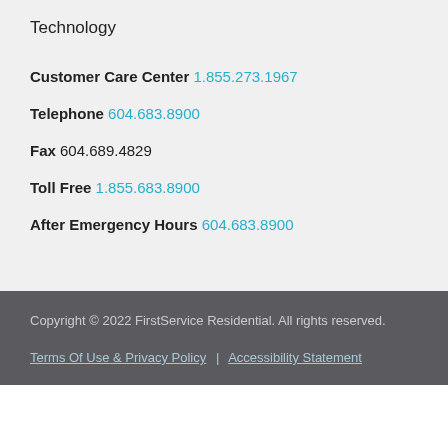Technology
Customer Care Center 1.855.273.1967
Telephone 604.683.8900
Fax 604.689.4829
Toll Free 1.855.683.8900
After Emergency Hours 604.683.8900
Copyright © 2022 FirstService Residential. All rights reserved. Terms Of Use & Privacy Policy | Accessibility Statement